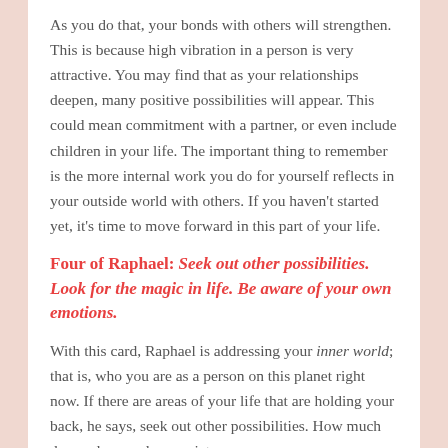As you do that, your bonds with others will strengthen. This is because high vibration in a person is very attractive. You may find that as your relationships deepen, many positive possibilities will appear. This could mean commitment with a partner, or even include children in your life. The important thing to remember is the more internal work you do for yourself reflects in your outside world with others. If you haven't started yet, it's time to move forward in this part of your life.
Four of Raphael: Seek out other possibilities. Look for the magic in life. Be aware of your own emotions.
With this card, Raphael is addressing your inner world; that is, who you are as a person on this planet right now. If there are areas of your life that are holding your back, he says, seek out other possibilities. How much do you love and appreciate